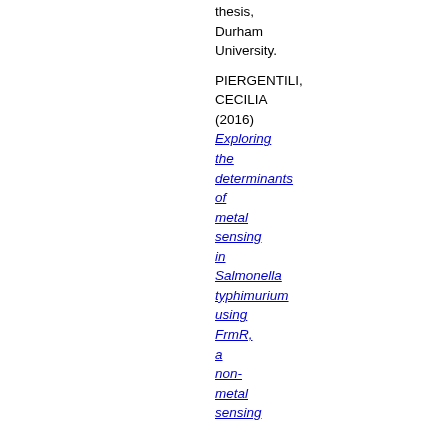thesis, Durham University.
PIERGENTILI, CECILIA (2016) Exploring the determinants of metal sensing in Salmonella typhimurium using FrmR, a non-metal sensing